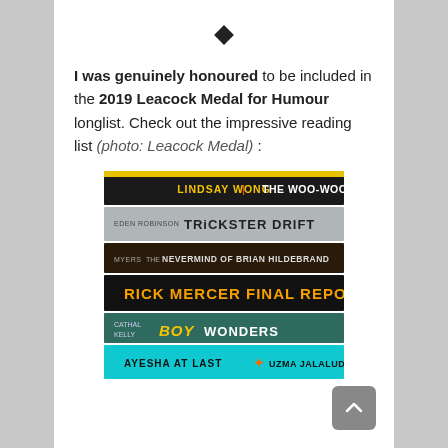♦
I was genuinely honoured to be included in the 2019 Leacock Medal for Humour longlist. Check out the impressive reading list (photo: Leacock Medal) :
[Figure (photo): Stack of books on a table showing spines: Lindsay Wong The Woo-Woo, Eden Robinson Trickster Drift, Myers The Nevermind of Brian Hildebrand, Rick Mercer Final Report, Cathal Kelly Boy Wonders, Ayesha at Last by Uzma Jalaluddin]